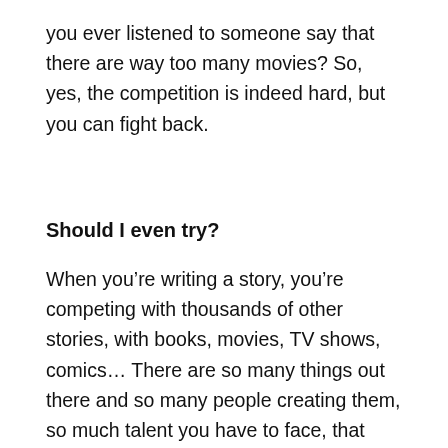you ever listened to someone say that there are way too many movies? So, yes, the competition is indeed hard, but you can fight back.
Should I even try?
When you’re writing a story, you’re competing with thousands of other stories, with books, movies, TV shows, comics… There are so many things out there and so many people creating them, so much talent you have to face, that sometimes it does seem impossible to do it.
Let’s face it: it’s really really hard. So, first off, you’ll need to ask yourself: what if…? What if it’s so hard that